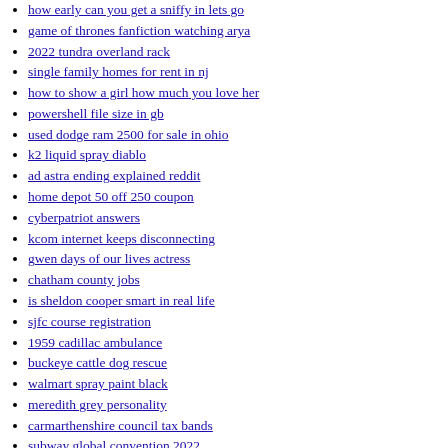how early can you get a sniffy in lets go
game of thrones fanfiction watching arya
2022 tundra overland rack
single family homes for rent in nj
how to show a girl how much you love her
powershell file size in gb
used dodge ram 2500 for sale in ohio
k2 liquid spray diablo
ad astra ending explained reddit
home depot 50 off 250 coupon
cyberpatriot answers
kcom internet keeps disconnecting
gwen days of our lives actress
chatham county jobs
is sheldon cooper smart in real life
sjfc course registration
1959 cadillac ambulance
buckeye cattle dog rescue
walmart spray paint black
meredith grey personality
carmarthenshire council tax bands
subway global convention 2022
redrow oxford lifestyle
northside high school softball roster
best seattle grunge bands